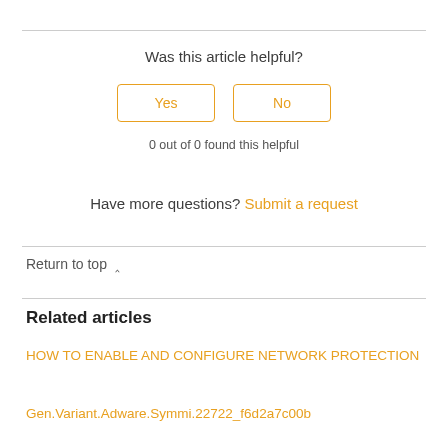Was this article helpful?
Yes   No
0 out of 0 found this helpful
Have more questions? Submit a request
Return to top ∧
Related articles
HOW TO ENABLE AND CONFIGURE NETWORK PROTECTION
Gen.Variant.Adware.Symmi.22722_f6d2a7c00b